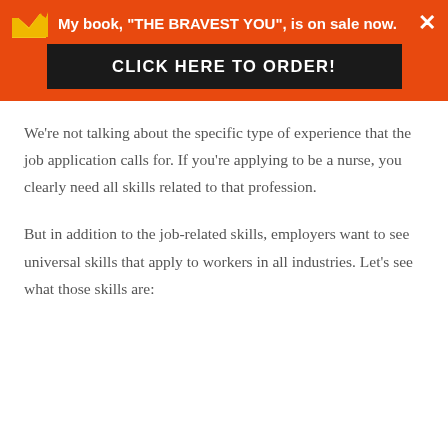My book, "THE BRAVEST YOU", is on sale now. CLICK HERE TO ORDER!
We're not talking about the specific type of experience that the job application calls for. If you're applying to be a nurse, you clearly need all skills related to that profession.
But in addition to the job-related skills, employers want to see universal skills that apply to workers in all industries. Let's see what those skills are: